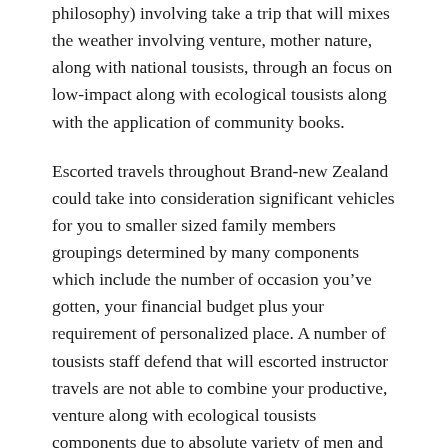philosophy) involving take a trip that will mixes the weather involving venture, mother nature, along with national tousists, through an focus on low-impact along with ecological tousists along with the application of community books.
Escorted travels throughout Brand-new Zealand could take into consideration significant vehicles for you to smaller sized family members groupings determined by many components which include the number of occasion you've gotten, your financial budget plus your requirement of personalized place. A number of tousists staff defend that will escorted instructor travels are not able to combine your productive, venture along with ecological tousists components due to absolute variety of men and women moving on and off your motor coach buses, smacking the many traveler locations as well but not often employing community books.